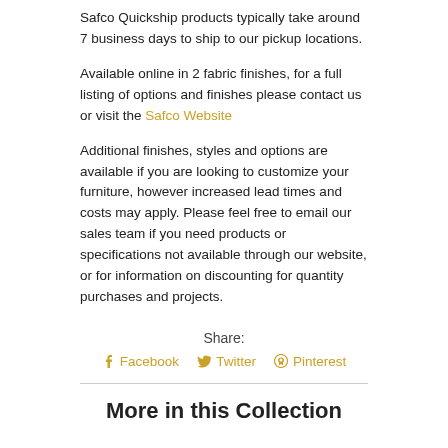Safco Quickship products typically take around 7 business days to ship to our pickup locations.
Available online in 2 fabric finishes, for a full listing of options and finishes please contact us or visit the Safco Website
Additional finishes, styles and options are available if you are looking to customize your furniture, however increased lead times and costs may apply. Please feel free to email our sales team if you need products or specifications not available through our website, or for information on discounting for quantity purchases and projects.
Share:
Facebook   Twitter   Pinterest
More in this Collection